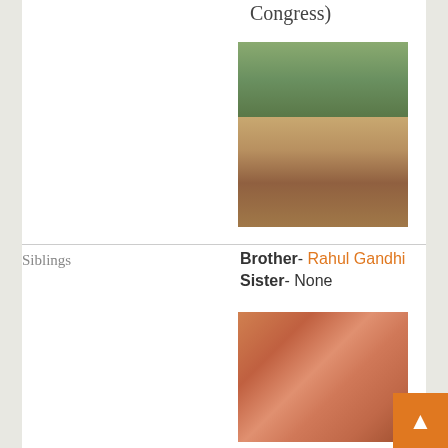Congress)
[Figure (photo): Group of people sitting outdoors on grass, appears to be a family or political gathering with trees in background]
Siblings
Brother- Rahul Gandhi
Sister- None
[Figure (photo): A woman in a saree and a man in a white shirt with garlands, surrounded by people, appears to be a public event]